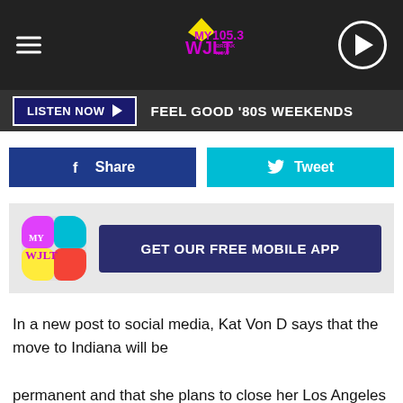[Figure (screenshot): MY 105.3 WJLT radio station header with hamburger menu, logo, and play button on dark background]
LISTEN NOW ▶  FEEL GOOD '80S WEEKENDS
[Figure (infographic): Facebook Share button (blue) and Twitter Tweet button (cyan) side by side]
[Figure (infographic): MY 105.3 WJLT app icon with GET OUR FREE MOBILE APP button on grey banner]
In a new post to social media, Kat Von D says that the move to Indiana will be permanent and that she plans to close her Los Angeles tattoo shop, High Voltage Tattoo.
After much thought, we have decided we will